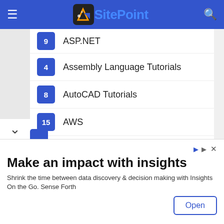SitePoint
9 ASP.NET
4 Assembly Language Tutorials
8 AutoCAD Tutorials
15 AWS
7 Bootstrap Tutorials
13 C Programming Tutorials
24 C# Tutorial
18 C++ Tutorials
6 Camtasia Tutorials
Make an impact with insights
Shrink the time between data discovery & decision making with Insights On the Go. Sense Forth